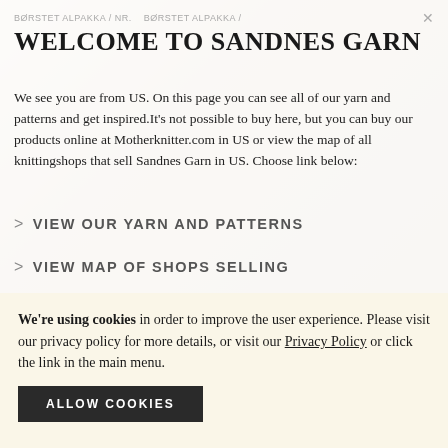BØRSTET ALPAKKA / Nr.   BØRSTET ALPAKKA / ×
WELCOME TO SANDNES GARN
We see you are from US. On this page you can see all of our yarn and patterns and get inspired.It's not possible to buy here, but you can buy our products online at Motherknitter.com in US or view the map of all knittingshops that sell Sandnes Garn in US. Choose link below:
> VIEW OUR YARN AND PATTERNS
> VIEW MAP OF SHOPS SELLING
We're using cookies in order to improve the user experience. Please visit our privacy policy for more details, or visit our Privacy Policy or click the link in the main menu.
ALLOW COOKIES